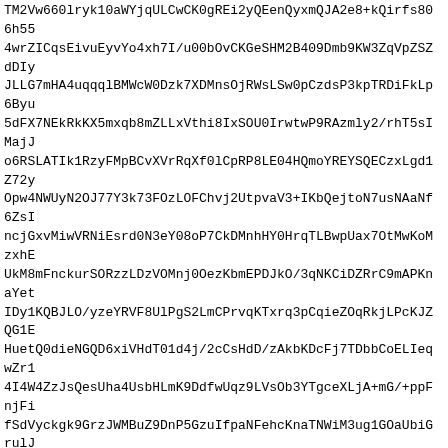TM2Vw660lryk10aWYjqULCwCK0gREi2yQEenQyxmQJA2e8+kQirfs80
6h55
4wrZICqsEivuEyvYo4xh7I/u00bOvCKGeSHM2B409Dmb9KW3ZqVpZSZ
dDIy
JLLG7mHA4uqqqlBMWcW0Dzk7XDMnsOjRWsLSw0pCzdsP3kpTRDiFkLp
6Byu
5dFX7NEkRkKX5mxqb8mZLLxVthi8IxSOU0IrwtwP9RAzmly2/rhT5sI
MajJ
o6RSLATIk1RzyFMpBCvXVrRqXf0lCpRP8LE04HQmoYREYSQECzxLgd1
Z72y
Opw4NWUyN2OJ77Y3k73FOzLOFChvj2UtpvaV3+IKbQejtoN7usNAaNf
6ZsI
ncjGxvMiwVRNiEsrd0N3eY08oP7CkDMnhHY0HrqTLBwpUax7OtMwKoM
zxhE
UkM8mFnckurSORzzLDzVOMnj0OezKbmEPDJkO/3qNKCiDZRrC9mAPKn
aYet
IDy1KQBJLO/yzeYRVF8UlPgS2LmCPrvqKTxrq3pCqieZOqRkjLPcKJZ
QG1E
HuetQ0dieNGQD6xiVHdT01d4j/2cCsHdD/zAkbKDcFj7TDbbCoELIeq
wZr1
4I4W4ZzJsQesUha4UsbHLmK9DdfwUqz9LVsOb3YTgceXLjA+mG/+ppF
njFi
fSdVyckgk9GrzJWMBuZ9DnP5GzuIfpaNFehcKnaTNWiM3ug1GOaUbiG
rulJ
yOmQfucxWliyReqQ6eWUlemoXid9/umo+65M9eqwDpmX/pe13iWEfXG
Dj14
HOxNGuZzJ+oGR+2DElnGEuuoLuveMeyOK5cIrlis7udaFX986e0NUog
XljZ
ru3QvtUlmu/6vu/83u/+/u8AH/ACP/AEX/AGf/AIn/AKv/AM3/AO//A
n/Ea